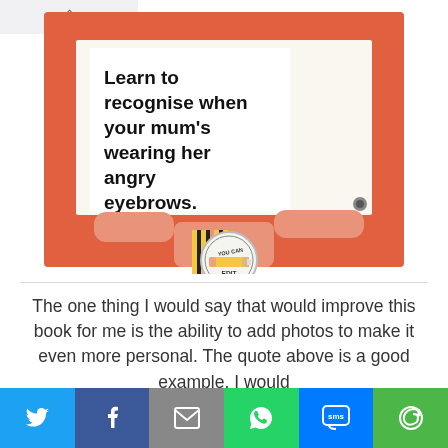[Figure (illustration): Illustration of a person holding a speech bubble sign that reads 'Learn to recognise when your mum's wearing her angry eyebrows.' with a 'You Can Edit' pencil logo badge at the bottom center. The background is orange/coral with a cream/white inner border. The figure wears a striped yellow-black top.]
The one thing I would say that would improve this book for me is the ability to add photos to make it even more personal. The quote above is a good example, I would
[Figure (infographic): Social sharing bar with six buttons: Twitter (blue bird icon), Facebook (dark blue f icon), Email (grey envelope icon), WhatsApp (green phone icon), SMS (blue SMS bubble icon), More (green circle-arrow icon)]